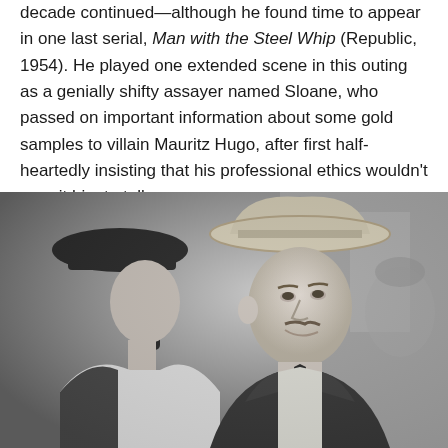decade continued—although he found time to appear in one last serial, Man with the Steel Whip (Republic, 1954). He played one extended scene in this outing as a genially shifty assayer named Sloane, who passed on important information about some gold samples to villain Mauritz Hugo, after first half-heartedly insisting that his professional ethics wouldn't permit him to talk.
[Figure (photo): Black and white film still showing two people in Western costume facing each other. On the right, a man wearing a wide-brimmed cowboy hat and suit with a boutonniere smiles slightly. On the left, a person with a dark hat is seen from behind/side.]